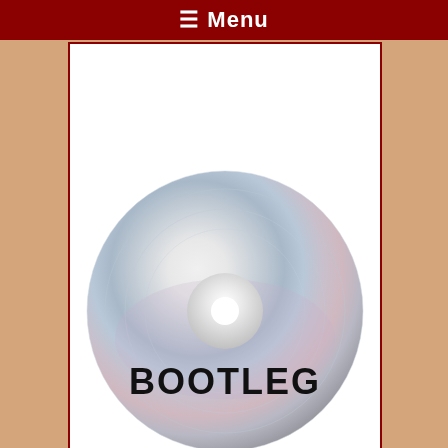≡ Menu
[Figure (photo): A silver/chrome CD disc with the word BOOTLEG printed in bold black text on its surface, shown against a white background inside a red-bordered card.]
David Bowie 1990-03-15 Vancouver ,PNE Coliseum (JEMS Master) SQ 7,5
[Figure (photo): Green-tinted concert photo with text overlay reading '1990 SOUND' and 'UR 1990 SOUND' arranged in a curved pattern, with a partial scroll-up button in the bottom right corner.]